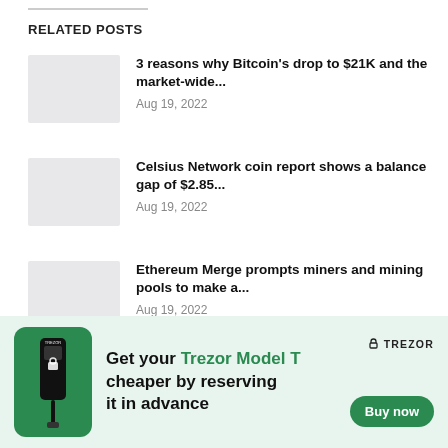RELATED POSTS
3 reasons why Bitcoin's drop to $21K and the market-wide... Aug 19, 2022
Celsius Network coin report shows a balance gap of $2.85... Aug 19, 2022
Ethereum Merge prompts miners and mining pools to make a... Aug 19, 2022
[Figure (infographic): Trezor Model T advertisement banner with green background. Shows Trezor device image, text 'Get your Trezor Model T cheaper by reserving it in advance', Trezor logo, and Buy now button.]